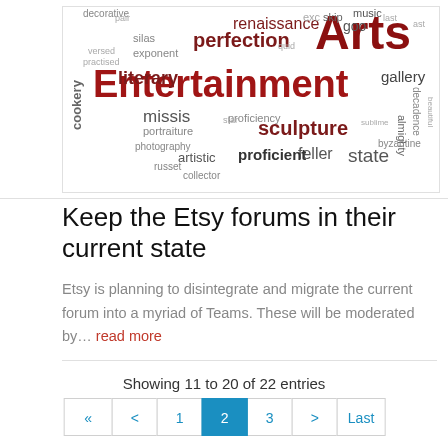[Figure (infographic): Word cloud with arts and entertainment themed words in various sizes and shades of dark red/maroon and gray. Prominent words include: Arts, Entertainment, renaissance, perfection, literary, sculpture, cookery, missis, proficiency, proficient, state, feller, artistic, gallery, decadence, almighty, byzantine, portraiture, photography, silas, decorative, collector, russet, exponent, etc.]
Keep the Etsy forums in their current state
Etsy is planning to disintegrate and migrate the current forum into a myriad of Teams. These will be moderated by… read more
Showing 11 to 20 of 22 entries
« First  <  1  2  3  >  Last »